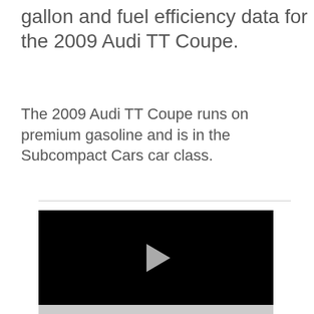gallon and fuel efficiency data for the 2009 Audi TT Coupe.
The 2009 Audi TT Coupe runs on premium gasoline and is in the Subcompact Cars car class.
[Figure (screenshot): A video player with a black background and a white/gray play button triangle in the center, with a gray progress bar at the bottom.]